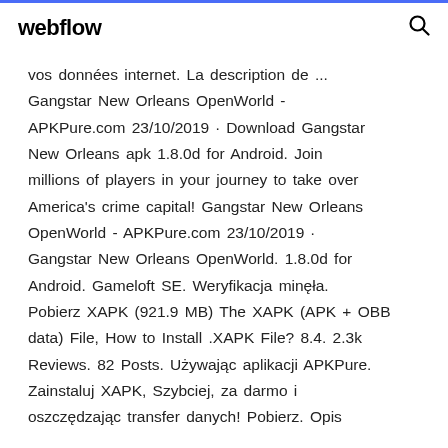webflow
vos données internet. La description de ... Gangstar New Orleans OpenWorld - APKPure.com 23/10/2019 · Download Gangstar New Orleans apk 1.8.0d for Android. Join millions of players in your journey to take over America's crime capital! Gangstar New Orleans OpenWorld - APKPure.com 23/10/2019 · Gangstar New Orleans OpenWorld. 1.8.0d for Android. Gameloft SE. Weryfikacja minęła. Pobierz XAPK (921.9 MB) The XAPK (APK + OBB data) File, How to Install .XAPK File? 8.4. 2.3k Reviews. 82 Posts. Używając aplikacji APKPure. Zainstaluj XAPK, Szybciej, za darmo i oszczędzając transfer danych! Pobierz. Opis